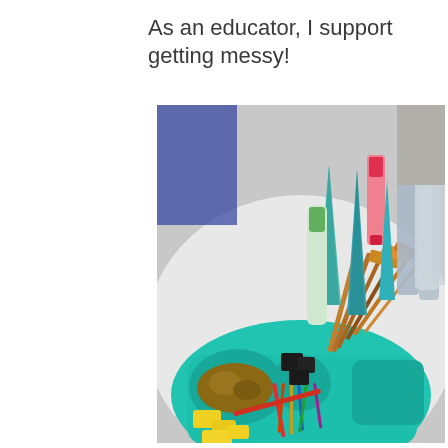As an educator, I support getting messy!
[Figure (photo): A photo of art supplies arranged on a white round table, including paint tubes, paint cones, paint brushes of various sizes in a teal organizer tray, yellow sponge pieces, colorful craft sticks, and bottles of paint.]